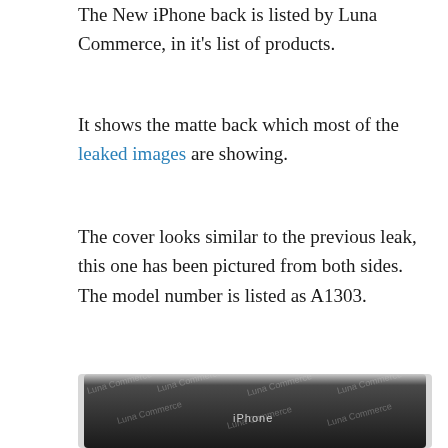The New iPhone back is listed by Luna Commerce, in it's list of products.
It shows the matte back which most of the leaked images are showing.
The cover looks similar to the previous leak, this one has been pictured from both sides. The model number is listed as A1303.
[Figure (photo): Photo of the back of a black iPhone (model A1303, 16GB) with matte finish, showing the Apple logo, iPhone branding, regulatory markings, and a watermark reading 'Luna Commerce' repeated across the image.]